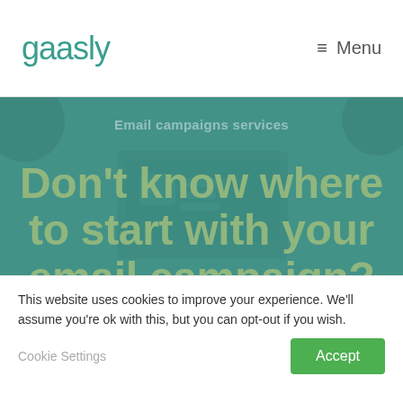gaasly — Menu
Email campaigns services
Don't know where to start with your email campaign?
Got an email marketing challenge you need to solve? Don't have a clue where to start? Don't
This website uses cookies to improve your experience. We'll assume you're ok with this, but you can opt-out if you wish.
Cookie Settings
Accept